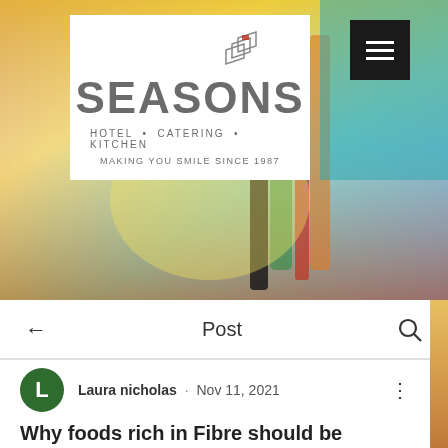[Figure (illustration): Website screenshot showing Seasons Hotel Catering Kitchen logo on white box overlay against colorful abstract blurred background with vertical shapes in teal, yellow, red and orange colors]
SEASONS HOTEL · CATERING · KITCHEN — MAKING YOU SMILE SINCE 1987
← Post 🔍
Laura nicholas · Nov 11, 2021
Why foods rich in Fibre should be included in our diet?